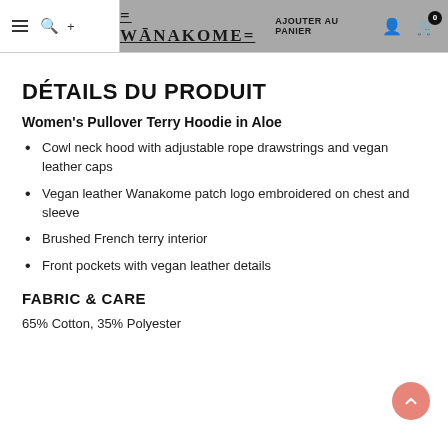WANAKOME — AJOUTER AU PANIER
DÉTAILS DU PRODUIT
Women's Pullover Terry Hoodie in Aloe
Cowl neck hood with adjustable rope drawstrings and vegan leather caps
Vegan leather Wanakome patch logo embroidered on chest and sleeve
Brushed French terry interior
Front pockets with vegan leather details
FABRIC & CARE
65% Cotton, 35% Polyester